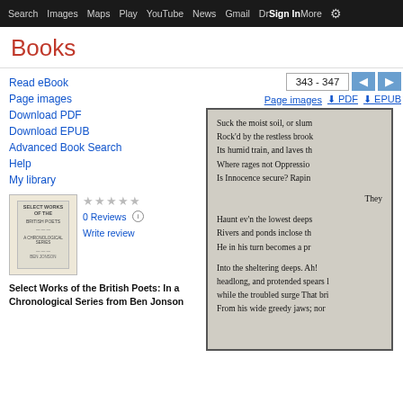Search  Images  Maps  Play  YouTube  News  Gmail  Drive  More  Sign in  [gear]
Books
Read eBook
Page images
Download PDF
Download EPUB
Advanced Book Search
Help
My library
0 Reviews
Write review
Select Works of the British Poets: In a Chronological Series from Ben Jonson
343 - 347
Page images  ⬇ PDF  ⬇ EPUB
[Figure (screenshot): Scanned book page showing poetry text: 'Suck the moist soil, or slum... Rock'd by the restless brool... Its humid train, and laves th... Where rages not Oppressio... Is Innocence secure? Rapin... They... Haunt ev'n the lowest deeps... Rivers and ponds inclose th... He in his turn becomes a pr... Into the sheltering deeps. Ah!... headlong, and protended spears... while the troubled surge That bri... From his wide greedy jaws; nor']